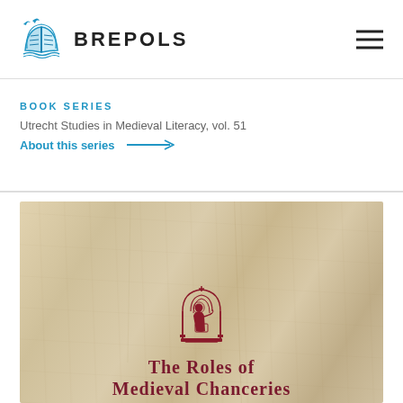BREPOLS
BOOK SERIES
Utrecht Studies in Medieval Literacy, vol. 51
About this series →
[Figure (illustration): Book cover of 'The Roles of Medieval Chanceries' showing parchment-textured background with a red medieval scribe medallion illustration and the title text in red serif font.]